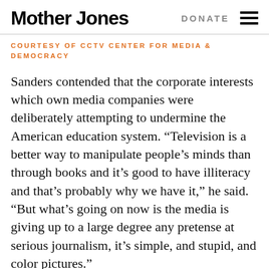Mother Jones | DONATE
COURTESY OF CCTV CENTER FOR MEDIA & DEMOCRACY
Sanders contended that the corporate interests which own media companies were deliberately attempting to undermine the American education system. “Television is a better way to manipulate people’s minds than through books and it’s good to have illiteracy and that’s probably why we have it,” he said. “But what’s going on now is the media is giving up to a large degree any pretense at serious journalism, it’s simple, and stupid, and color pictures.”
He believed that if nothing changed, the affects on